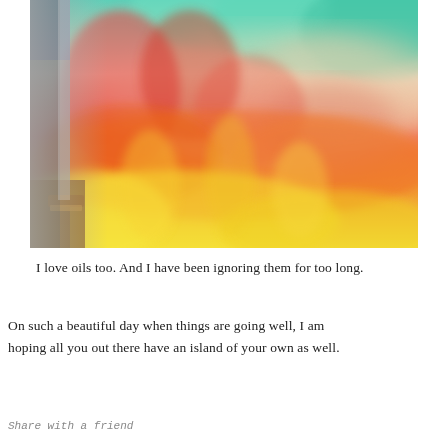[Figure (photo): Close-up photograph of an oil painting on canvas propped on an easel. The painting shows vivid flame-like colors blending from bright yellow and orange at the bottom to red and coral in the middle, with teal and green tones at the top. The canvas is viewed at an angle, with the easel visible at the lower left.]
I love oils too. And I have been ignoring them for too long.
On such a beautiful day when things are going well, I am hoping all you out there have an island of your own as well.
Share with a friend